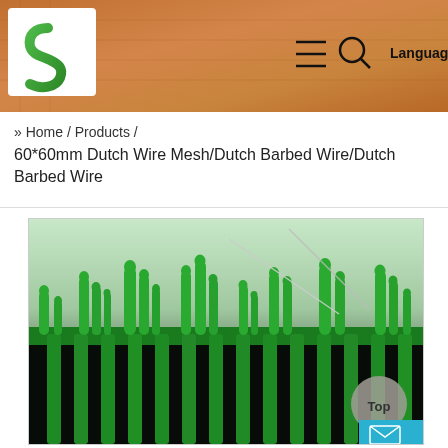[Figure (screenshot): Website header banner with orange/amber background texture, company logo (green S-shaped leaf on white background) on left, hamburger menu icon, search icon, and Language text on right]
» Home / Products /
60*60mm Dutch Wire Mesh/Dutch Barbed Wire/Dutch Barbed Wire
[Figure (photo): Close-up photo of green PVC-coated Dutch wire mesh/barbed wire product, showing vertical green-coated wires with protruding spikes at top against dark background]